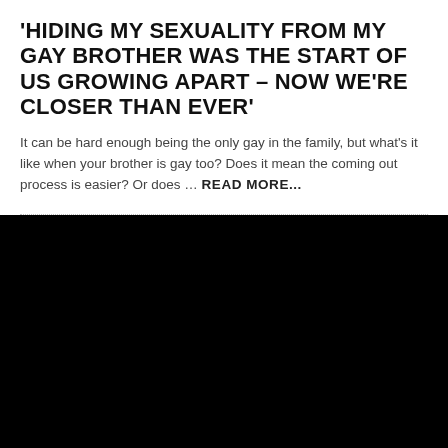'HIDING MY SEXUALITY FROM MY GAY BROTHER WAS THE START OF US GROWING APART – NOW WE'RE CLOSER THAN EVER'
It can be hard enough being the only gay in the family, but what's it like when your brother is gay too? Does it mean the coming out process is easier? Or does … READ MORE...
[Figure (photo): Large black image / placeholder photograph]